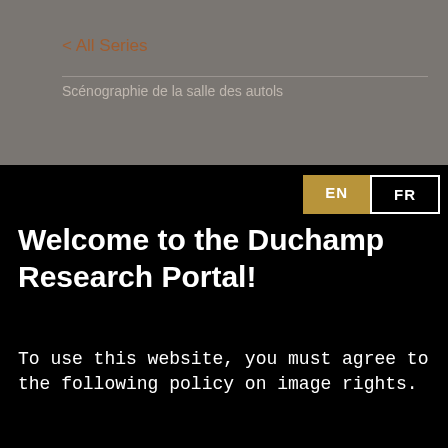< All Series
Scénographie de la salle des autols
Welcome to the Duchamp Research Portal!
EN
FR
To use this website, you must agree to the following policy on image rights.
This Portal unites a number of museum collections and archival repositories in order to provide a free online research
Schiff, John
Duchamp, Marcel